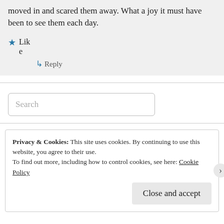moved in and scared them away. What a joy it must have been to see them each day.
Like
Reply
Search
Privacy & Cookies: This site uses cookies. By continuing to use this website, you agree to their use. To find out more, including how to control cookies, see here: Cookie Policy
Close and accept